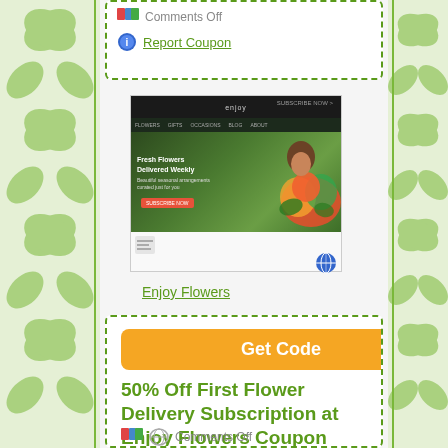[Figure (screenshot): Partial coupon box at top with Report Coupon link and Comments Off text]
[Figure (screenshot): Screenshot of Enjoy Flowers website showing a woman holding colorful flowers]
Enjoy Flowers
[Figure (other): Get Code button (orange)]
50% Off First Flower Delivery Subscription at Enjoy Flowers Coupon Code
Save 50% Off First Flower Delivery Subscription at Enjoy Flowers Coupon Code.... more »
October 9, 2019
Category: Flowers
Comments Off